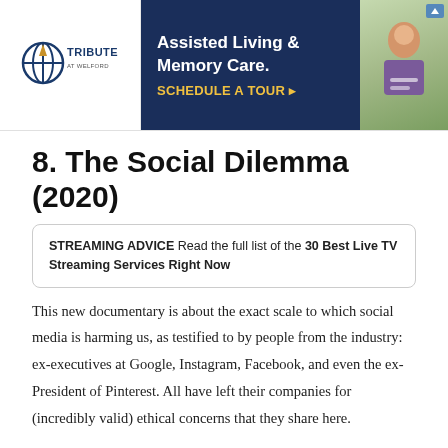[Figure (other): Advertisement banner for Tribute at Welford assisted living and memory care facility. Shows logo on left, dark blue background with text 'Assisted Living & Memory Care. SCHEDULE A TOUR ▸' in center, and photo of elderly person on right.]
8. The Social Dilemma (2020)
STREAMING ADVICE Read the full list of the 30 Best Live TV Streaming Services Right Now
This new documentary is about the exact scale to which social media is harming us, as testified to by people from the industry: ex-executives at Google, Instagram, Facebook, and even the ex-President of Pinterest. All have left their companies for (incredibly valid) ethical concerns that they share here.